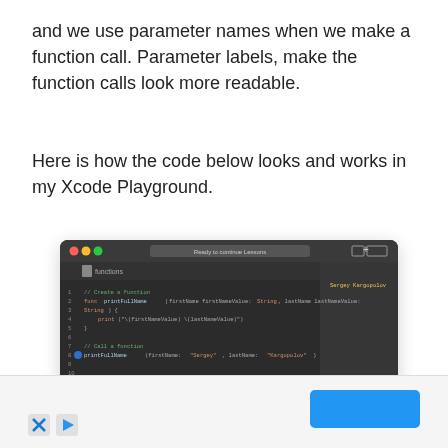and we use parameter names when we make a function call. Parameter labels, make the function calls look more readable.
Here is how the code below looks and works in my Xcode Playground.
[Figure (screenshot): Xcode Playground screenshot showing Swift function definition with parameter labels (firstName, lastName) and a function call printFullName(firstName: 'Sergey', lastName: 'Kargopolov'). Output at bottom shows 'Sergey Kargopolov'.]
[Figure (other): Advertisement bar with blue button and X/play icons at the bottom of the page.]